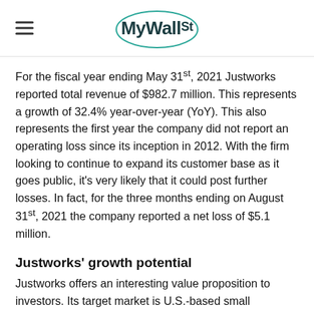MyWallSt
For the fiscal year ending May 31st, 2021 Justworks reported total revenue of $982.7 million. This represents a growth of 32.4% year-over-year (YoY). This also represents the first year the company did not report an operating loss since its inception in 2012. With the firm looking to continue to expand its customer base as it goes public, it's very likely that it could post further losses. In fact, for the three months ending on August 31st, 2021 the company reported a net loss of $5.1 million.
Justworks' growth potential
Justworks offers an interesting value proposition to investors. Its target market is U.S.-based small